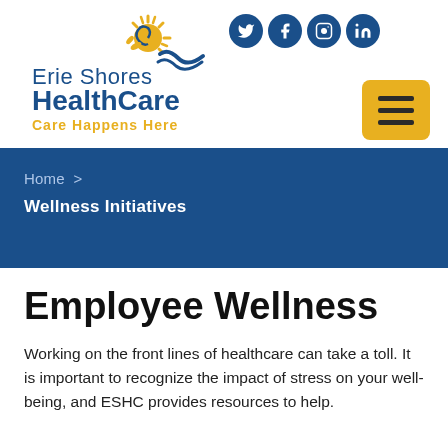[Figure (logo): Erie Shores HealthCare logo with sun/wave graphic and tagline 'Care Happens Here']
[Figure (infographic): Social media icons: Twitter, Facebook, Instagram, LinkedIn — white icons on dark blue circles]
[Figure (infographic): Yellow/gold hamburger menu button with three horizontal lines]
Home > Wellness Initiatives
Employee Wellness
Working on the front lines of healthcare can take a toll. It is important to recognize the impact of stress on your well-being, and ESHC provides resources to help.